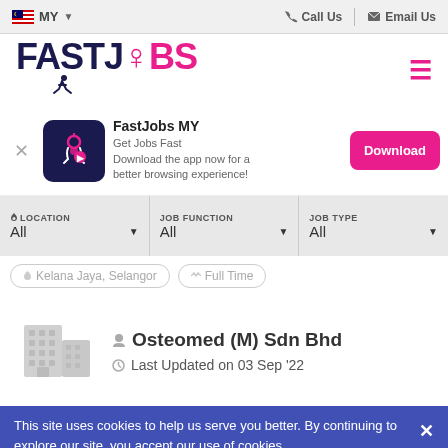MY  |  Call Us  |  Email Us
[Figure (logo): FastJobs logo with running figure icon]
FastJobs MY
Get Jobs Fast
Download the app now for a better browsing experience!
Download
LOCATION: All  |  JOB FUNCTION: All  |  JOB TYPE: All
Kelana Jaya, Selangor  |  Full Time
Osteomed (M) Sdn Bhd
Last Updated on 03 Sep '22
This site uses cookies to help us serve you better. By continuing to explore our site, you accept our use of cookies